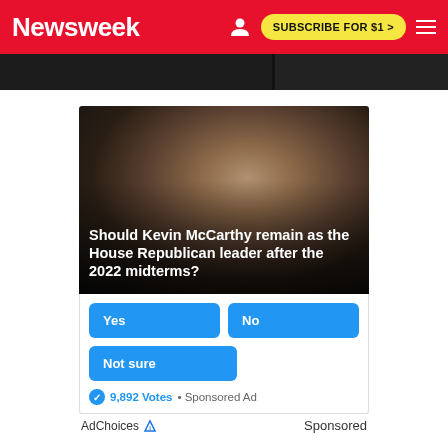Newsweek — SUBSCRIBE FOR $1 >
[Figure (screenshot): Partial top image strip showing two dark article thumbnail images cropped at top]
[Figure (photo): Photo of Kevin McCarthy with poll overlay: Should Kevin McCarthy remain as the House Republican leader after the 2022 midterms? with Yes, No, Not sure buttons and 9,892 Votes · Sponsored Ad]
AdChoices  Sponsored
Conversation